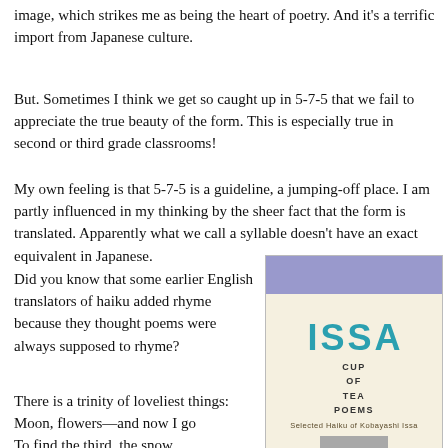image, which strikes me as being the heart of poetry. And it's a terrific import from Japanese culture.
But. Sometimes I think we get so caught up in 5-7-5 that we fail to appreciate the true beauty of the form. This is especially true in second or third grade classrooms!
My own feeling is that 5-7-5 is a guideline, a jumping-off place. I am partly influenced in my thinking by the sheer fact that the form is translated. Apparently what we call a syllable doesn't have an exact equivalent in Japanese.
Did you know that some earlier English translators of haiku added rhyme because they thought poems were always supposed to rhyme?
[Figure (illustration): Book cover for 'Issa Cup of Tea Poems: Selected Haiku of Kobayashi Issa'. Teal letters I S S A on cream background with purple top bar. Gray box with white decorative marks below subtitle text.]
There is a trinity of loveliest things:
Moon, flowers—and now I go
To find the third, the snow.